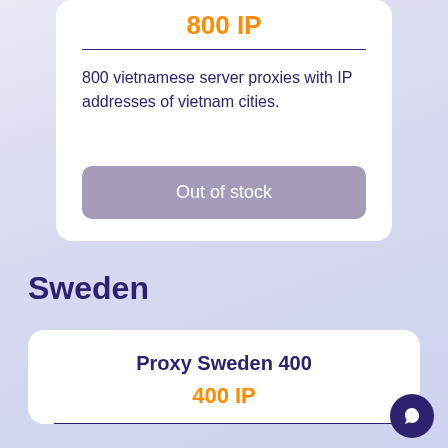800 IP
800 vietnamese server proxies with IP addresses of vietnam cities.
Out of stock
Sweden
Proxy Sweden 400
400 IP